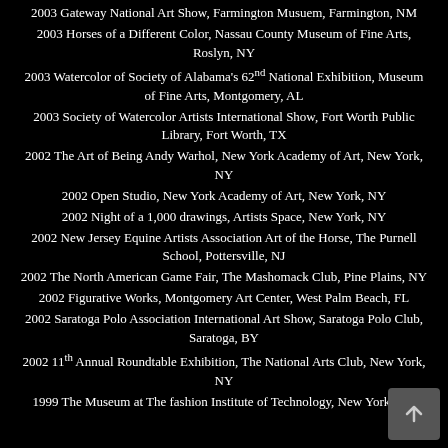2003 Gateway National Art Show, Farmington Musuem, Farmington, NM
2003 Horses of a Different Color, Nassau County Museum of Fine Arts, Roslyn, NY
2003 Watercolor of Society of Alabama's 62nd National Exhibition, Museum of Fine Arts, Montgomery, AL
2003 Society of Watercolor Artists International Show, Fort Worth Public Library, Fort Worth, TX
2002 The Art of Being Andy Warhol, New York Academy of Art, New York, NY
2002 Open Studio, New York Academy of Art, New York, NY
2002 Night of a 1,000 drawings, Artists Space, New York, NY
2002 New Jersey Equine Artists Association Art of the Horse, The Purnell School, Pottersville, NJ
2002 The North American Game Fair, The Mashomack Club, Pine Plains, NY
2002 Figurative Works, Montgomery Art Center, West Palm Beach, FL
2002 Saratoga Polo Association International Art Show, Saratoga Polo Club, Saratoga, BY
2002 11th Annual Roundtable Exhibition, The National Arts Club, New York, NY
1999 The Museum at The fashion Institute of Technology, New York, NY